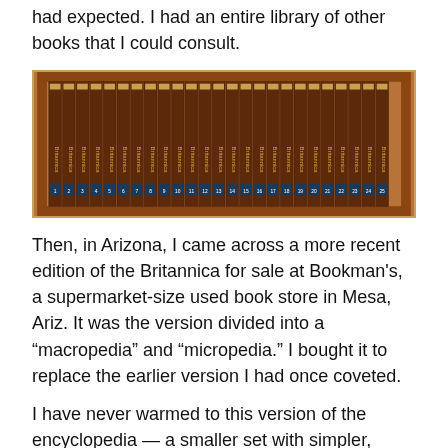had expected. I had an entire library of other books that I could consult.
[Figure (photo): A row of Encyclopedia Britannica volumes arranged on a wooden shelf, showing approximately 25 volumes with dark brown leather spines labeled 'Britannica' and numbered at the bottom.]
Then, in Arizona, I came across a more recent edition of the Britannica for sale at Bookman's, a supermarket-size used book store in Mesa, Ariz. It was the version divided into a “macropedia” and “micropedia.” I bought it to replace the earlier version I had once coveted.
I have never warmed to this version of the encyclopedia — a smaller set with simpler, introductory articles about a wider range of subjects, and a longer set with in-depth